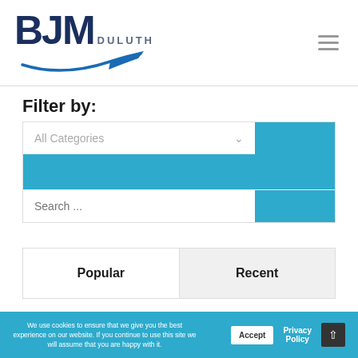[Figure (logo): BJM Duluth logo with navy bold text and blue swoosh graphic]
Filter by:
[Figure (screenshot): Filter UI with All Categories dropdown and blue button, a blue bar row, and a Search input row with blue button]
[Figure (screenshot): Popular and Recent tab selectors on light gray background]
We use cookies to ensure that we give you the best experience on our website. If you continue to use this site we will assume that you are happy with it.